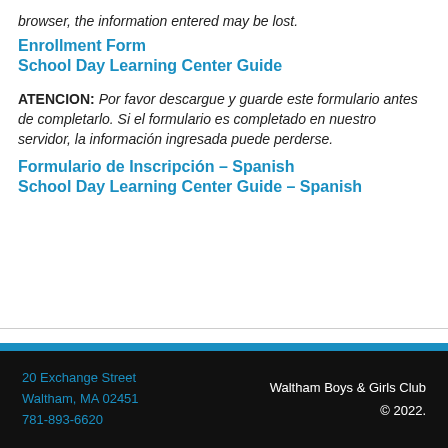browser, the information entered may be lost.
Enrollment Form
School Day Learning Center Guide
ATENCION: Por favor descargue y guarde este formulario antes de completarlo. Si el formulario es completado en nuestro servidor, la información ingresada puede perderse.
Formulario de Inscripción – Spanish
School Day Learning Center Guide – Spanish
20 Exchange Street
Waltham, MA 02451
781-893-6620
Waltham Boys & Girls Club
© 2022.